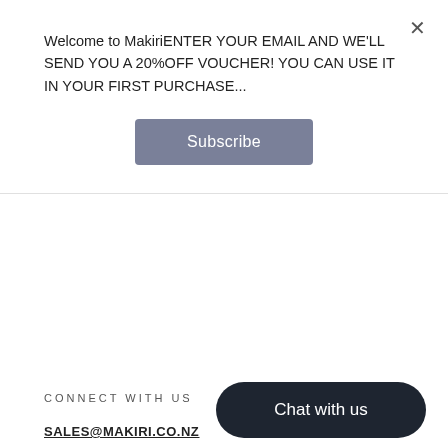Welcome to MakiriENTER YOUR EMAIL AND WE'LL SEND YOU A 20%OFF VOUCHER! YOU CAN USE IT IN YOUR FIRST PURCHASE...
Subscribe
CONNECT WITH US
SALES@MAKIRI.CO.NZ
09 238 4570
[Figure (illustration): Facebook and Instagram social icons]
NEWSLETTER
Chat with us